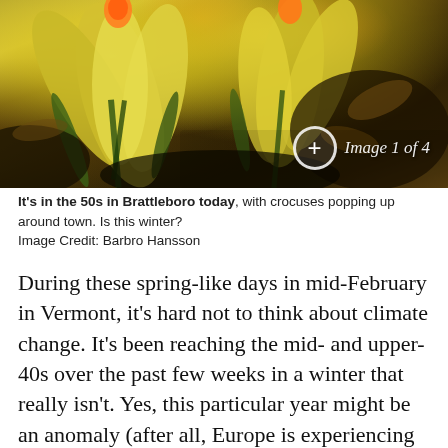[Figure (photo): Close-up photograph of yellow crocuses blooming with dark earthy background, with an image counter badge showing '+ Image 1 of 4' in the lower right corner]
It's in the 50s in Brattleboro today, with crocuses popping up around town. Is this winter?
Image Credit: Barbro Hansson
During these spring-like days in mid-February in Vermont, it's hard not to think about climate change. It's been reaching the mid- and upper-40s over the past few weeks in a winter that really isn't. Yes, this particular year might be an anomaly (after all, Europe is experiencing record cold this winter), but increasingly, scientists believe the long-term trend is clearly warming.